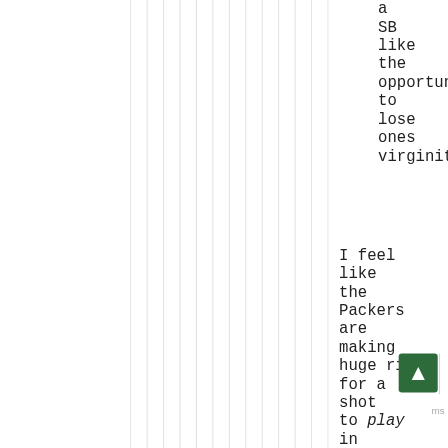a SB like the opportunity to lose ones virginity
I feel like the Packers are making a huge risk for a shot to play in the Super